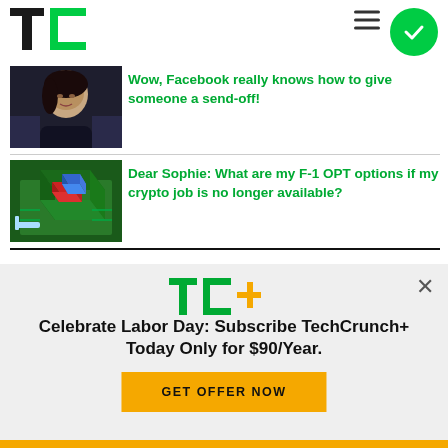TechCrunch
[Figure (photo): Photo of a woman with dark hair, appearing to be at a hearing or formal event]
Wow, Facebook really knows how to give someone a send-off!
[Figure (photo): 3D rendered image of a microchip with red and blue components on a green circuit board]
Dear Sophie: What are my F-1 OPT options if my crypto job is no longer available?
[Figure (logo): TC+ logo — TechCrunch Plus subscription logo]
Celebrate Labor Day: Subscribe TechCrunch+ Today Only for $90/Year.
GET OFFER NOW